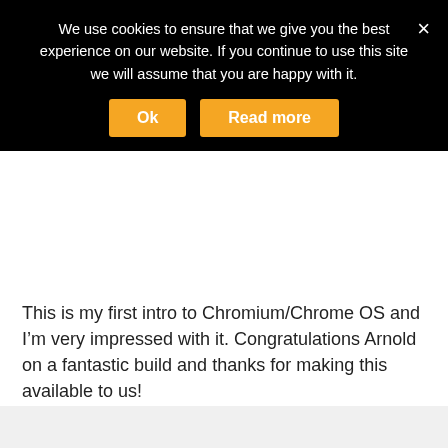We use cookies to ensure that we give you the best experience on our website. If you continue to use this site we will assume that you are happy with it.
This is my first intro to Chromium/Chrome OS and I’m very impressed with it. Congratulations Arnold on a fantastic build and thanks for making this available to us!
➤ REPLY
[Figure (screenshot): Infolinks advertisement bar with partial text visible and a close button on the right]